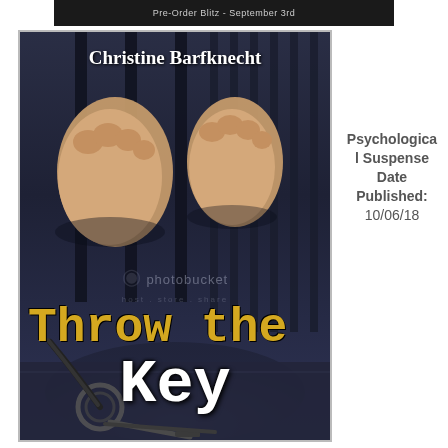[Figure (illustration): Top partial banner showing 'Pre-Order Blitz - September 3rd' on a dark background]
[Figure (photo): Book cover for 'Throw the Key' by Christine Barfknecht. Shows hands gripping prison bars, with keys on the ground. Title in gold/white typewriter font. Photobucket watermark visible.]
Psychological Suspense Date Published: 10/06/18